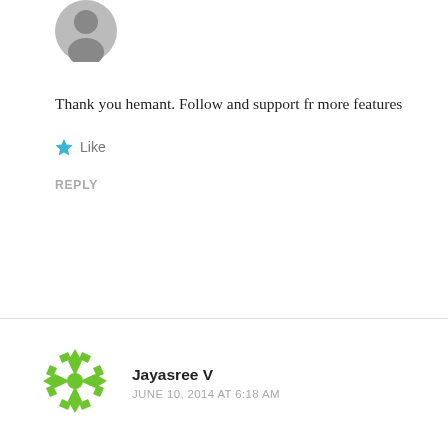[Figure (illustration): Circular avatar image of a person, partially visible at top of page]
Thank you hemant. Follow and support fr more features
Like
REPLY
[Figure (illustration): Green snowflake/pinwheel avatar icon for commenter Jayasree V]
Jayasree V
JUNE 10, 2014 AT 6:18 AM
Loved this interview very much,from the start of pkdh m a big big big fan of nakul and After reading this iv i love nakul more than anyone in tv ..He is so charming ,intelligent and talented,yet so humble.. Love u nakul and thank u dear for